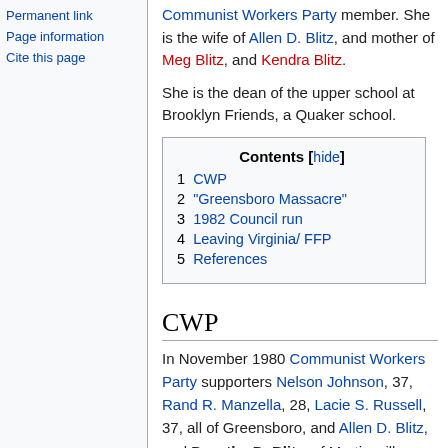Permanent link
Page information
Cite this page
Communist Workers Party member. She is the wife of Allen D. Blitz, and mother of Meg Blitz, and Kendra Blitz.
She is the dean of the upper school at Brooklyn Friends, a Quaker school.
| Contents [hide] |
| 1 CWP |
| 2 "Greensboro Massacre" |
| 3 1982 Council run |
| 4 Leaving Virginia/ FFP |
| 5 References |
CWP
In November 1980 Communist Workers Party supporters Nelson Johnson, 37, Rand R. Manzella, 28, Lacie S. Russell, 37, all of Greensboro, and Allen D. Blitz, and Dorothy D. Blitz, of Martinsville,